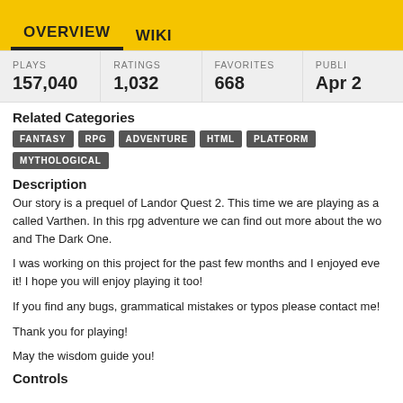OVERVIEW   WIKI
| PLAYS | RATINGS | FAVORITES | PUBLI... |
| --- | --- | --- | --- |
| 157,040 | 1,032 | 668 | Apr ... |
Related Categories
FANTASY
RPG
ADVENTURE
HTML
PLATFORM
MYTHOLOGICAL
Description
Our story is a prequel of Landor Quest 2. This time we are playing as a ... called Varthen. In this rpg adventure we can find out more about the wo... and The Dark One.
I was working on this project for the past few months and I enjoyed eve... it! I hope you will enjoy playing it too!
If you find any bugs, grammatical mistakes or typos please contact me!
Thank you for playing!
May the wisdom guide you!
Controls